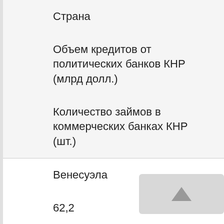| Страна | Объем кредитов от политических банков КНР (млрд долл.) | Количество займов в коммерческих банках КНР (шт.) |
| --- | --- | --- |
| Венесуэла | 62,2 | 1 |
| Доминик. Республика | 0,600 |  |